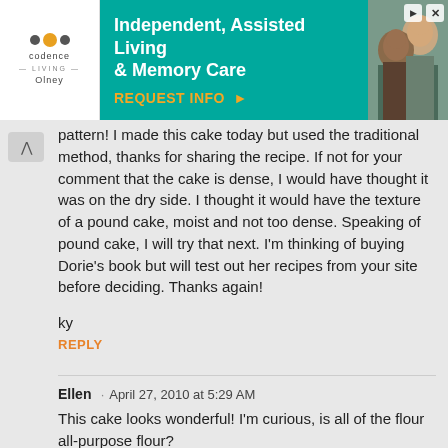[Figure (screenshot): Advertisement banner for Codence Living - Independent, Assisted Living & Memory Care in Olney with teal background and photo of elderly couple]
pattern! I made this cake today but used the traditional method, thanks for sharing the recipe. If not for your comment that the cake is dense, I would have thought it was on the dry side. I thought it would have the texture of a pound cake, moist and not too dense. Speaking of pound cake, I will try that next. I'm thinking of buying Dorie's book but will test out her recipes from your site before deciding. Thanks again!
ky
REPLY
Ellen · April 27, 2010 at 5:29 AM
This cake looks wonderful! I'm curious, is all of the flour all-purpose flour?